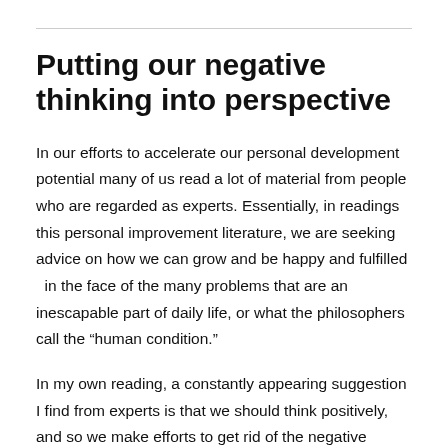Putting our negative thinking into perspective
In our efforts to accelerate our personal development potential many of us read a lot of material from people who are regarded as experts. Essentially, in readings this personal improvement literature, we are seeking advice on how we can grow and be happy and fulfilled  in the face of the many problems that are an inescapable part of daily life, or what the philosophers call the “human condition.”
In my own reading, a constantly appearing suggestion I find from experts is that we should think positively, and so we make efforts to get rid of the negative thinking which we all engage in periodically. But, often, no matter how